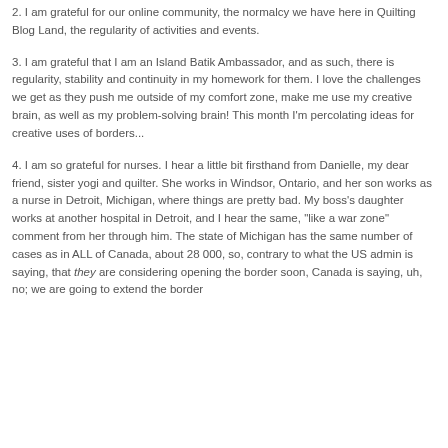2. I am grateful for our online community, the normalcy we have here in Quilting Blog Land, the regularity of activities and events.
3. I am grateful that I am an Island Batik Ambassador, and as such, there is regularity, stability and continuity in my homework for them. I love the challenges we get as they push me outside of my comfort zone, make me use my creative brain, as well as my problem-solving brain! This month I'm percolating ideas for creative uses of borders...
4. I am so grateful for nurses. I hear a little bit firsthand from Danielle, my dear friend, sister yogi and quilter. She works in Windsor, Ontario, and her son works as a nurse in Detroit, Michigan, where things are pretty bad. My boss's daughter works at another hospital in Detroit, and I hear the same, "like a war zone" comment from her through him. The state of Michigan has the same number of cases as in ALL of Canada, about 28 000, so, contrary to what the US admin is saying, that they are considering opening the border soon, Canada is saying, uh, no; we are going to extend the border